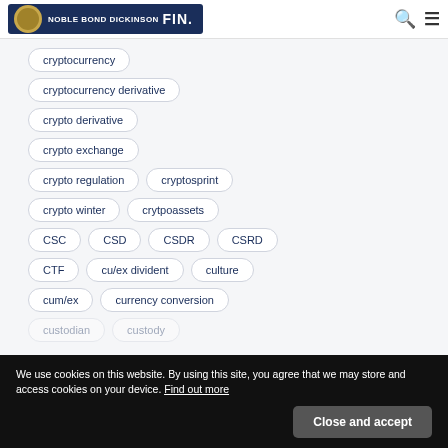NOBLE BOND DICKINSON | FIN.
cryptocurrency
cryptocurrency derivative
crypto derivative
crypto exchange
crypto regulation
cryptosprint
crypto winter
crytpoassets
CSC
CSD
CSDR
CSRD
CTF
cu/ex divident
culture
cum/ex
currency conversion
custodian
custody
We use cookies on this website. By using this site, you agree that we may store and access cookies on your device. Find out more
Close and accept